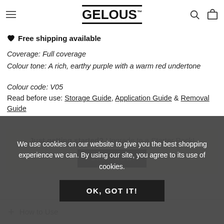GELOUS (navigation bar with hamburger menu, search and cart icons)
No smudging once cured
Vegan, cruelty-free & 10-free
Easy to apply & remove
Free shipping available
Coverage: Full coverage
Colour tone: A rich, earthy purple with a warm red undertone
Colour code: V05
Read before use: Storage Guide, Application Guide & Removal Guide
Just getting started? Upgrade to a Starter Pack!
SHOP NOW
We use cookies on our website to give you the best shopping experience we can. By using our site, you agree to its use of cookies.
OK, GOT IT!
+ How to Use